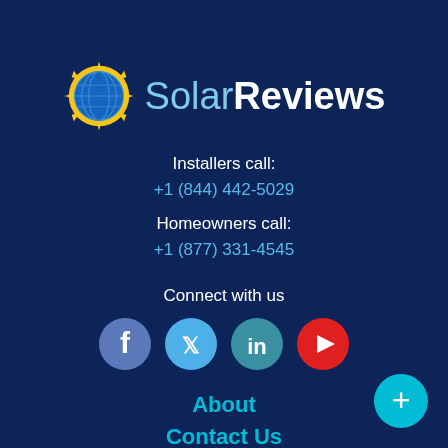[Figure (logo): SolarReviews logo with sun/globe icon and text 'SolarReviews']
Installers call:
+1 (844) 442-5029
Homeowners call:
+1 (877) 331-4545
Connect with us
[Figure (illustration): Social media icons: Facebook, Twitter, LinkedIn, YouTube]
About
Contact Us
Careers
For installers